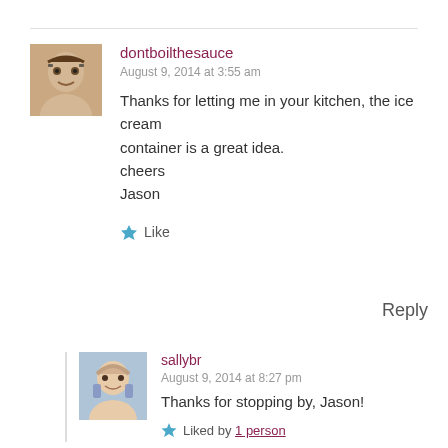dontboilthesauce
August 9, 2014 at 3:55 am
Thanks for letting me in your kitchen, the ice cream container is a great idea.
cheers
Jason
Like
Reply
sallybr
August 9, 2014 at 8:27 pm
Thanks for stopping by, Jason!
Liked by 1 person